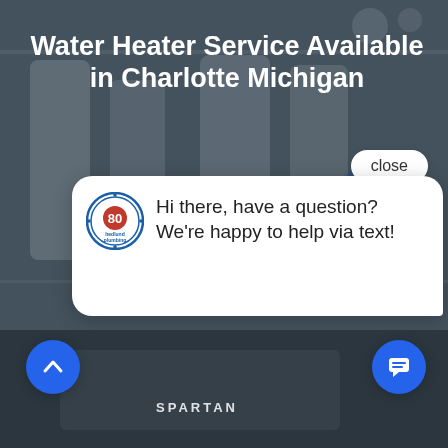[Figure (photo): Screenshot of a plumbing company website (Hedlund Plumbing) featuring water heaters in the background with a dark overlay, a chat popup widget, a close button, and two circular floating action buttons (up arrow and chat icon). Text overlay reads 'Water Heater Service Available in Charlotte Michigan'. The bottom of the page shows another photo of a Spartan vehicle/equipment.]
Water Heater Service Available in Charlotte Michigan
Hi there, have a question? We're happy to help via text!